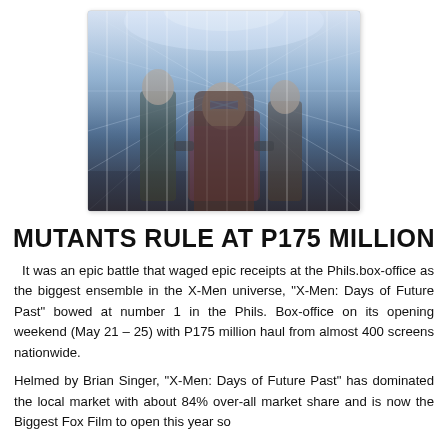[Figure (photo): Movie still from X-Men: Days of Future Past showing three characters in a metallic corridor, the central figure wearing a visor with an X symbol]
MUTANTS RULE AT P175 MILLION
It was an epic battle that waged epic receipts at the Phils.box-office as the biggest ensemble in the X-Men universe, “X-Men: Days of Future Past” bowed at number 1 in the Phils. Box-office on its opening weekend (May 21 – 25) with P175 million haul from almost 400 screens nationwide.
Helmed by Brian Singer, “X-Men: Days of Future Past” has dominated the local market with about 84% over-all market share and is now the Biggest Fox Film to open this year so